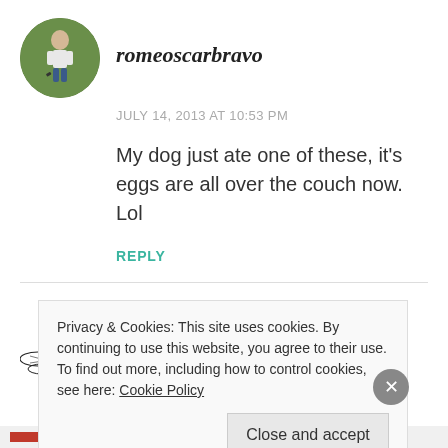[Figure (photo): Circular avatar photo of a person outdoors in a green setting]
romeoscarbravo
JULY 14, 2013 AT 10:53 PM
My dog just ate one of these, it's eggs are all over the couch now. Lol
REPLY
[Figure (illustration): Hand-drawn illustration of a dragonfly woman figure]
dragonflywoman
Privacy & Cookies: This site uses cookies. By continuing to use this website, you agree to their use.
To find out more, including how to control cookies, see here: Cookie Policy
Close and accept